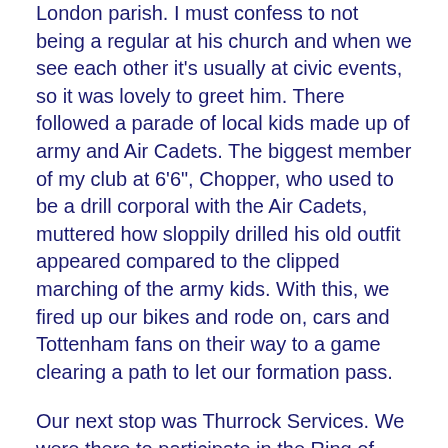London parish. I must confess to not being a regular at his church and when we see each other it's usually at civic events, so it was lovely to greet him. There followed a parade of local kids made up of army and Air Cadets. The biggest member of my club at 6'6", Chopper, who used to be a drill corporal with the Air Cadets, muttered how sloppily drilled his old outfit appeared compared to the clipped marching of the army kids. With this, we fired up our bikes and rode on, cars and Tottenham fans on their way to a game clearing a path to let our formation pass.
Our next stop was Thurrock Services. We were there to participate in the Ring of Red ride around the M25. The idea was that 15,000 or so bikers, all dressed in red, would complete a red circle around the M25, thereby creating the world's largest poppy, which could be seen from the air. On arrival at the services an absolutely awesome sight greeted us. Half a dozen bikers is impressive, several thousand much more so. The mood was great. There were people collecting for the Royal British Legion, and the